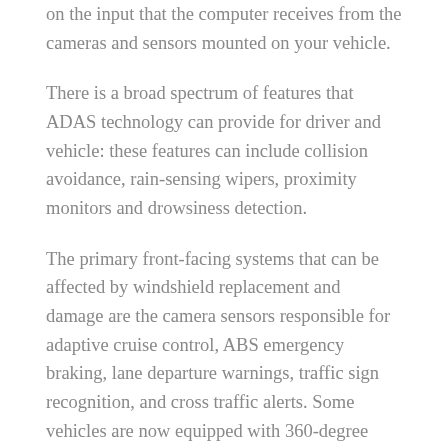on the input that the computer receives from the cameras and sensors mounted on your vehicle.
There is a broad spectrum of features that ADAS technology can provide for driver and vehicle: these features can include collision avoidance, rain-sensing wipers, proximity monitors and drowsiness detection.
The primary front-facing systems that can be affected by windshield replacement and damage are the camera sensors responsible for adaptive cruise control, ABS emergency braking, lane departure warnings, traffic sign recognition, and cross traffic alerts. Some vehicles are now equipped with 360-degree cameras for more complete surround view